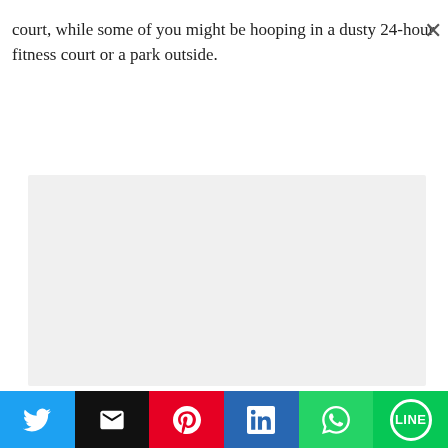court, while some of you might be hooping in a dusty 24-hour fitness court or a park outside.
[Figure (other): Large light grey rectangular placeholder box]
[Figure (other): Social share bar with Twitter, Email, Pinterest, LinkedIn, WhatsApp, and LINE buttons]